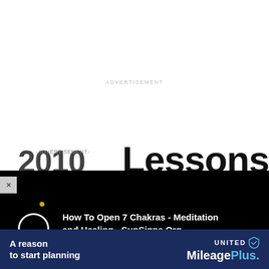ADVERTISEMENT
Lessons
[Figure (screenshot): Black advertisement banner for 'How To Open 7 Chakras - Meditation and Healing - SunSigns.Org' with a chakra ring icon and golden dot on black background. Has an X close button on the left side.]
them stay and operate within the traditional values.
[Figure (screenshot): United MileagePlus advertisement banner with blue background. Text reads 'A reason to start planning' on left, and 'UNITED MileagePlus' logo on right.]